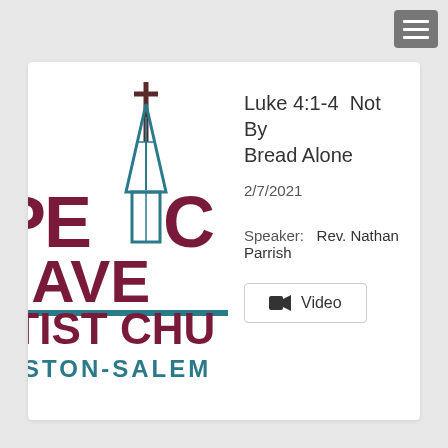[Figure (logo): Peace Haven Baptist Church Winston-Salem logo — partial view showing cross, teal steeple, dark red letters PE C / AVE / PTIST CHU / STON-SALEM]
Luke 4:1-4  Not By Bread Alone
2/7/2021
Speaker:   Rev. Nathan Parrish
Video